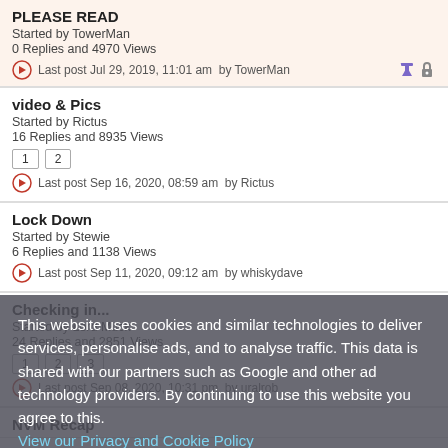PLEASE READ
Started by TowerMan
0 Replies and 4970 Views
Last post Jul 29, 2019, 11:01 am  by TowerMan
video & Pics
Started by Rictus
16 Replies and 8935 Views
Last post Sep 16, 2020, 08:59 am  by Rictus
Lock Down
Started by Stewie
6 Replies and 1138 Views
Last post Sep 11, 2020, 09:12 am  by whiskydave
Checking in...
Started by Lord Muck
24 Replies and 2851 Views
Last post Sep 08, 2020, 10:31 pm  by uralrob
NVM Recap
This website uses cookies and similar technologies to deliver services, personalise ads, and to analyse traffic. This data is shared with our partners such as Google and other ad technology providers. By continuing to use this website you agree to this.
View our Privacy and Cookie Policy
I Agree